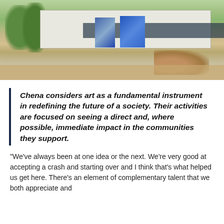[Figure (photo): Outdoor photo of a white building with colorful murals on its facade, surrounded by trees, dry brush, large rocks, and a dirt ground under a bright sky.]
Chena considers art as a fundamental instrument in redefining the future of a society. Their activities are focused on seeing a direct and, where possible, immediate impact in the communities they support.
“We’ve always been at one idea or the next. We’re very good at accepting a crash and starting over and I think that’s what helped us get here. There’s an element of complementary talent that we both appreciate and